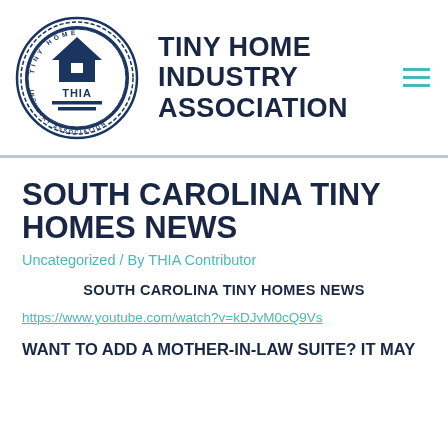[Figure (logo): THIA circular seal logo with house/triangle icon and text TINY HOME INDUSTRY ASSOCIATION around the border]
TINY HOME INDUSTRY ASSOCIATION
SOUTH CAROLINA TINY HOMES NEWS
Uncategorized / By THIA Contributor
SOUTH CAROLINA TINY HOMES NEWS
https://www.youtube.com/watch?v=kDJvM0cQ9Vs
WANT TO ADD A MOTHER-IN-LAW SUITE? IT MAY